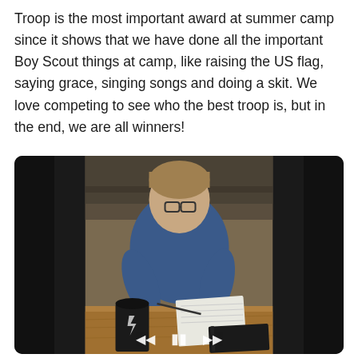Troop is the most important award at summer camp since it shows that we have done all the important Boy Scout things at camp, like raising the US flag, saying grace, singing songs and doing a skit. We love competing to see who the best troop is, but in the end, we are all winners!
[Figure (photo): A boy wearing a blue shirt and glasses sits at a wooden table writing in a notebook. There is a black cup with a lid on the table, and a black book nearby. The image is displayed as a video with playback controls (back, pause, forward) at the bottom, set in a dark-bordered video player frame.]